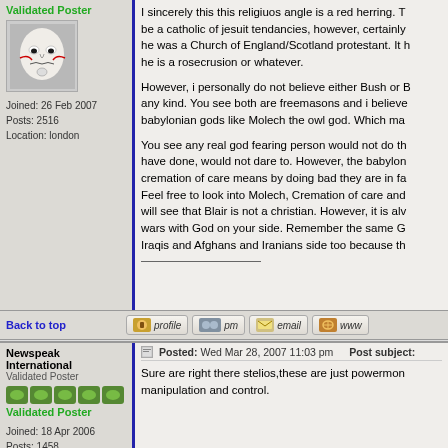Validated Poster
[Figure (photo): Guy Fawkes / Anonymous mask avatar]
Joined: 26 Feb 2007
Posts: 2516
Location: london
I sincerely this this religiuos angle is a red herring. T... be a catholic of jesuit tendancies, however, certainly... he was a Church of England/Scotland protestant. It h... he is a rosecrusion or whatever.

However, i personally do not believe either Bush or h... any kind. You see both are freemasons and i believe... babylonian gods like Molech the owl god. Which ma...

You see any real god fearing person would not do th... have done, would not dare to. However, the babylon... cremation of care means by doing bad they are in fa... Feel free to look into Molech, Cremation of care and... will see that Blair is not a christian. However, it is alw... wars with God on your side. Remember the same G... Iraqis and Afghans and Iranians side too because th...
Back to top
[Figure (other): profile button]
[Figure (other): pm button]
[Figure (other): email button]
[Figure (other): www button]
Newspeak International
Validated Poster
Validated Poster
Posted: Wed Mar 28, 2007 11:03 pm    Post subject:
Sure are right there stelios,these are just powermon... manipulation and control.
Joined: 18 Apr 2006
Posts: 1458